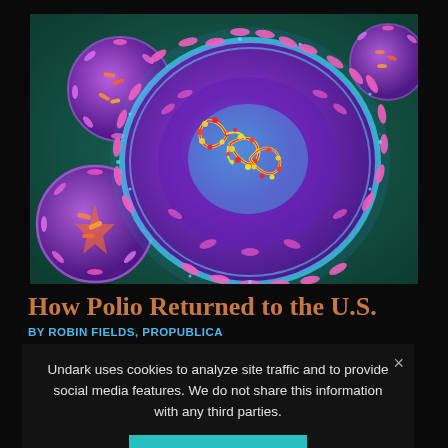[Figure (photo): Colorful 3D microscopic illustration of poliovirus particles — large central cell with blue membrane, pink/magenta protein spikes, yellow-red RNA strands inside, against teal/green background with smaller virus particles]
How Polio Returned to the U.S.
BY ROBIN FIELDS, PROPUBLICA
Undark uses cookies to analyze site traffic and to provide social media features. We do not share this information with any third parties.